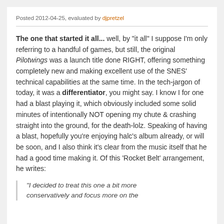Posted 2012-04-25, evaluated by djpretzel
The one that started it all... well, by "it all" I suppose I'm only referring to a handful of games, but still, the original Pilotwings was a launch title done RIGHT, offering something completely new and making excellent use of the SNES' technical capabilities at the same time. In the tech-jargon of today, it was a differentiator, you might say. I know I for one had a blast playing it, which obviously included some solid minutes of intentionally NOT opening my chute & crashing straight into the ground, for the death-lolz. Speaking of having a blast, hopefully you're enjoying halc's album already, or will be soon, and I also think it's clear from the music itself that he had a good time making it. Of this 'Rocket Belt' arrangement, he writes:
"I decided to treat this one a bit more conservatively and focus more on the